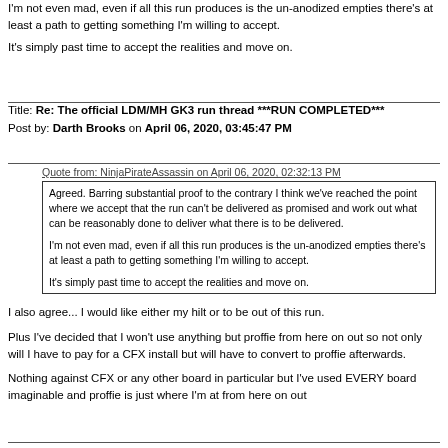I'm not even mad, even if all this run produces is the un-anodized empties there's at least a path to getting something I'm willing to accept.

It's simply past time to accept the realities and move on.
Title: Re: The official LDM/MH GK3 run thread ***RUN COMPLETED***
Post by: Darth Brooks on April 06, 2020, 03:45:47 PM
Quote from: NinjaPirateAssassin on April 06, 2020, 02:32:13 PM
Agreed. Barring substantial proof to the contrary I think we've reached the point where we accept that the run can't be delivered as promised and work out what can be reasonably done to deliver what there is to be delivered.

I'm not even mad, even if all this run produces is the un-anodized empties there's at least a path to getting something I'm willing to accept.

It's simply past time to accept the realities and move on.
I also agree... I would like either my hilt or to be out of this run.
Plus I've decided that I won't use anything but proffie from here on out so not only will I have to pay for a CFX install but will have to convert to proffie afterwards.
Nothing against CFX or any other board in particular but I've used EVERY board imaginable and proffie is just where I'm at from here on out